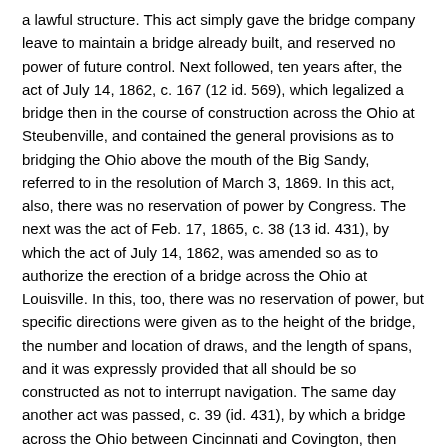a lawful structure. This act simply gave the bridge company leave to maintain a bridge already built, and reserved no power of future control. Next followed, ten years after, the act of July 14, 1862, c. 167 (12 id. 569), which legalized a bridge then in the course of construction across the Ohio at Steubenville, and contained the general provisions as to bridging the Ohio above the mouth of the Big Sandy, referred to in the resolution of March 3, 1869. In this act, also, there was no reservation of power by Congress. The next was the act of Feb. 17, 1865, c. 38 (13 id. 431), by which the act of July 14, 1862, was amended so as to authorize the erection of a bridge across the Ohio at Louisville. In this, too, there was no reservation of power, but specific directions were given as to the height of the bridge, the number and location of draws, and the length of spans, and it was expressly provided that all should be so constructed as not to interrupt navigation. The same day another act was passed, c. 39 (id. 431), by which a bridge across the Ohio between Cincinnati and Covington, then being built in accordance with the laws of Ohio and Kentucky, was declared to be a lawful structure, and no power reserved. There was no further legislation of this character until the act of July 25, 1866, c. 246 (14 Stat. 244), which authorized eight bridges across the Mississippi at and above St. Louis, and one across the Missouri. This act provided that, 'in case of any litigation arising from construction or alleged obstruction to the free...